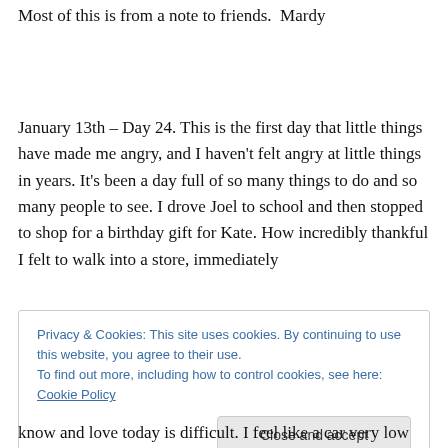Most of this is from a note to friends.  Mardy
January 13th – Day 24. This is the first day that little things have made me angry, and I haven't felt angry at little things in years. It's been a day full of so many things to do and so many people to see. I drove Joel to school and then stopped to shop for a birthday gift for Kate. How incredibly thankful I felt to walk into a store, immediately
Privacy & Cookies: This site uses cookies. By continuing to use this website, you agree to their use.
To find out more, including how to control cookies, see here: Cookie Policy
Close and accept
know and love today is difficult. I feel like a car very low on